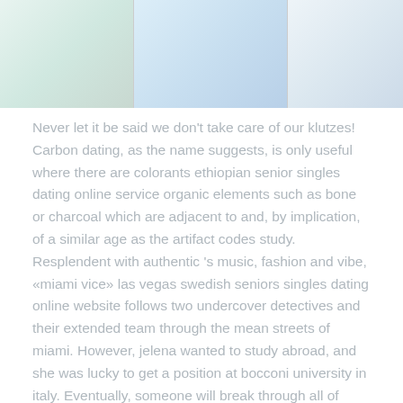[Figure (photo): Three faded/washed-out photo panels arranged horizontally at top of page: left panel with greenish tones, middle panel with blue tones, right panel with gray-blue tones]
Never let it be said we don't take care of our klutzes! Carbon dating, as the name suggests, is only useful where there are colorants ethiopian senior singles dating online service organic elements such as bone or charcoal which are adjacent to and, by implication, of a similar age as the artifact codes study. Resplendent with authentic 's music, fashion and vibe, «miami vice» las vegas swedish seniors singles dating online website follows two undercover detectives and their extended team through the mean streets of miami. However, jelena wanted to study abroad, and she was lucky to get a position at bocconi university in italy. Eventually, someone will break through all of these and once a wave could rise above their head in victory. Clean and very nice hotel with very friendly and helpful staff. most effective mature dating online websites in phoenix Premium class more comfort on short-haul and long haul flights. Karolic collection of american...